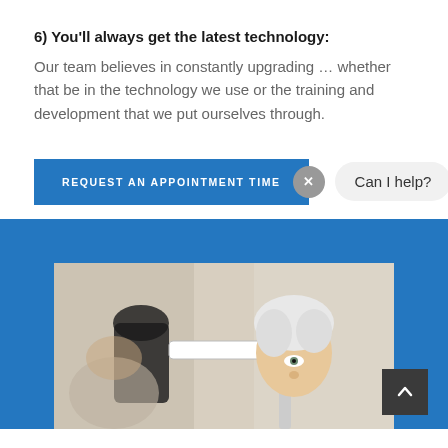6) You'll always get the latest technology:
Our team believes in constantly upgrading … whether that be in the technology we use or the training and development that we put ourselves through.
[Figure (screenshot): Blue 'REQUEST AN APPOINTMENT TIME' button with a close (X) bubble overlay, and a chat widget showing 'Can I help?' with an avatar of a woman in red]
[Figure (photo): Elderly patient at an eye examination machine with an optometrist, shown in a white clinical setting, displayed within a blue section background]